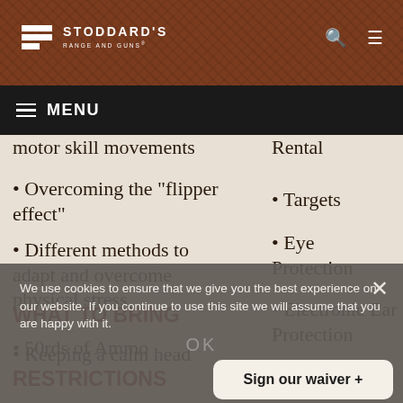STODDARD'S RANGE AND GUNS
motor skill movements
Overcoming the "flipper effect"
Different methods to adapt and overcome physical stress
Keeping a calm head
Rental
Targets
Eye Protection
Electronic Ear Protection
WHAT TO BRING
50rds of Ammo
RESTRICTIONS
We use cookies to ensure that we give you the best experience on our website. If you continue to use this site we will assume that you are happy with it.
Sign our waiver +